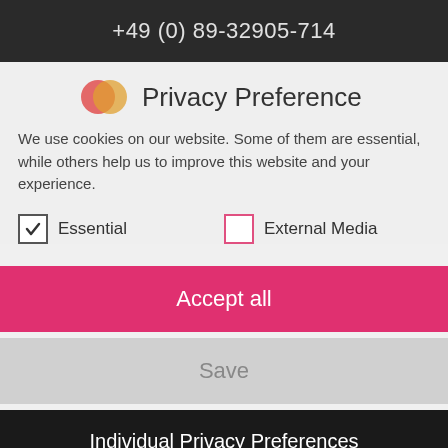+49 (0) 89-32905-714
Privacy Preference
We use cookies on our website. Some of them are essential, while others help us to improve this website and your experience.
Essential (checked)
External Media (unchecked)
Accept all
Save
Individual Privacy Preferences